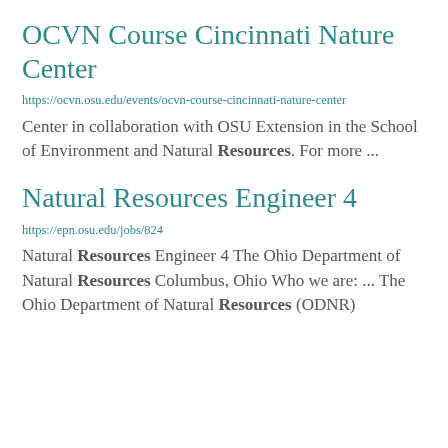OCVN Course Cincinnati Nature Center
https://ocvn.osu.edu/events/ocvn-course-cincinnati-nature-center
Center in collaboration with OSU Extension in the School of Environment and Natural Resources. For more ...
Natural Resources Engineer 4
https://epn.osu.edu/jobs/824
Natural Resources Engineer 4 The Ohio Department of Natural Resources Columbus, Ohio Who we are: ... The Ohio Department of Natural Resources (ODNR)